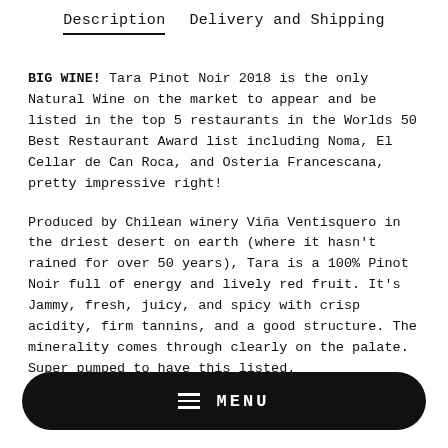Description   Delivery and Shipping
BIG WINE! Tara Pinot Noir 2018 is the only Natural Wine on the market to appear and be listed in the top 5 restaurants in the Worlds 50 Best Restaurant Award list including Noma, El Cellar de Can Roca, and Osteria Francescana, pretty impressive right!
Produced by Chilean winery Viña Ventisquero in the driest desert on earth (where it hasn't rained for over 50 years), Tara is a 100% Pinot Noir full of energy and lively red fruit. It's Jammy, fresh, juicy, and spicy with crisp acidity, firm tannins, and a good structure. The minerality comes through clearly on the palate. Super pumped to have this listed.
[Figure (other): Black pill-shaped MENU button with hamburger icon on the left and MENU text in white]